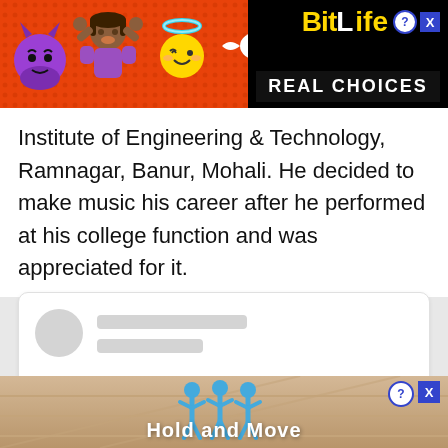[Figure (screenshot): BitLife app advertisement banner with emoji characters (devil, person with raised hands, angel) on red background, with black area showing BitLife logo in yellow and 'REAL CHOICES' text in white on dark background. Help and close buttons visible.]
Institute of Engineering & Technology, Ramnagar, Banur, Mohali. He decided to make music his career after he performed at his college function and was appreciated for it.
[Figure (screenshot): Social media post card with blurred/redacted avatar circle and two grey placeholder lines for username/handle. A partial device/hands icon visible at bottom.]
[Figure (screenshot): Bottom advertisement banner showing 'Hold and Move' game with blue stick figure characters on a ramp/slide background. Help (?) and close (X) buttons in top right.]